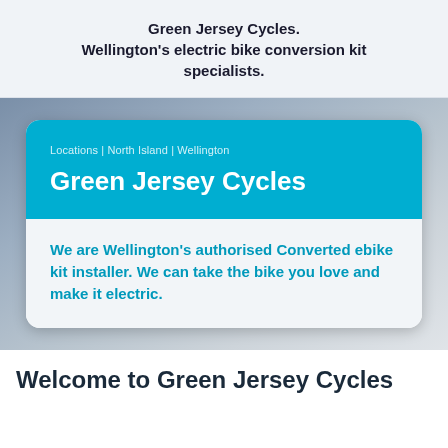Green Jersey Cycles.
Wellington's electric bike conversion kit specialists.
[Figure (other): A styled card on a grey gradient background. The card has a teal/blue top section with breadcrumb navigation 'Locations | North Island | Wellington' and the title 'Green Jersey Cycles'. The bottom section of the card has a light grey background with bold teal text: 'We are Wellington’s authorised Converted ebike kit installer. We can take the bike you love and make it electric.']
Welcome to Green Jersey Cycles